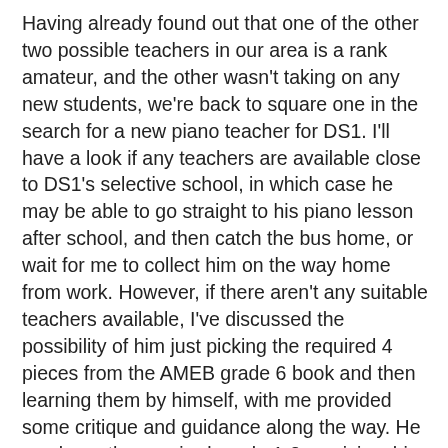Having already found out that one of the other two possible teachers in our area is a rank amateur, and the other wasn't taking on any new students, we're back to square one in the search for a new piano teacher for DS1. I'll have a look if any teachers are available close to DS1's selective school, in which case he may be able to go straight to his piano lesson after school, and then catch the bus home, or wait for me to collect him on the way home from work. However, if there aren't any suitable teachers available, I've discussed the possibility of him just picking the required 4 pieces from the AMEB grade 6 book and then learning them by himself, with me provided some critique and guidance along the way. He can learn the required grade 1-3 musicianship (theory) from the books I bought this morning (before learning that his new teacher was pulling the plug on him), and I've bought the grade 1 online exam for him so he can read through the online tutorials and do the practice exams during the school holidays before taking the actual grade 1 online exam under my supervision in a month or so.
While it wouldn't be ideal for DS1 to try working through grades 6-9 without a music tutor, it would be possible...